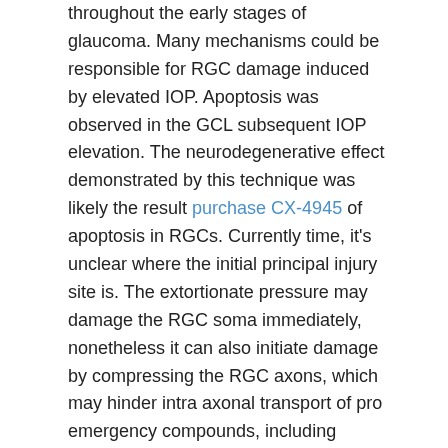throughout the early stages of glaucoma. Many mechanisms could be responsible for RGC damage induced by elevated IOP. Apoptosis was observed in the GCL subsequent IOP elevation. The neurodegenerative effect demonstrated by this technique was likely the result purchase CX-4945 of apoptosis in RGCs. Currently time, it's unclear where the initial principal injury site is. The extortionate pressure may damage the RGC soma immediately, nonetheless it can also initiate damage by compressing the RGC axons, which may hinder intra axonal transport of pro emergency compounds, including trophic factors. Alternately, pressure induced compression of the retinal blood vessels could cause mild ischemia in a few retinal cells. For instance, the inner retina, which includes a high metabolic demand and the blood circulation of which is supplied by the central retinal artery, might be more susceptible to metabolic stress induced by the insult in comparison with the outer retina. There is a well recognized need to build up glaucoma treatments that target things other than IOP get a handle on. Protecting the retina from glaucoma harm is as essential as controlling IOP. Like, JNK inhibitors such as SP600125